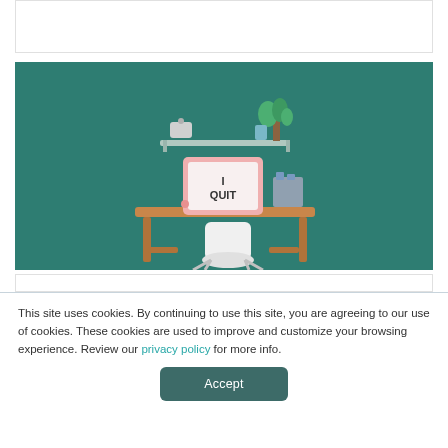[Figure (illustration): Flat illustration of an office desk scene on a teal/dark green background. A white monitor on a wooden desk displays 'I QUIT'. There is a white modern chair in front of the desk. On a shelf above the desk there are some items including a plant. Various office items are on the desk.]
This site uses cookies. By continuing to use this site, you are agreeing to our use of cookies. These cookies are used to improve and customize your browsing experience. Review our privacy policy for more info.
Accept